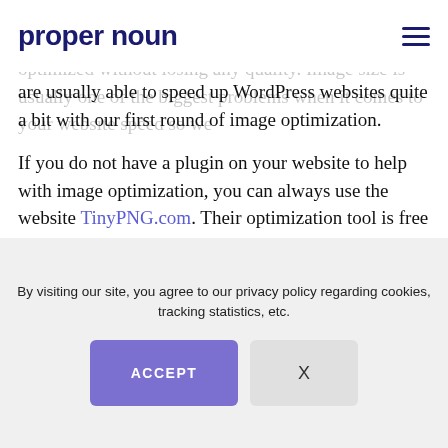proper noun
Just removes any unnecessary image metadata, EXIF data, location data, and unused color data. So optimized without losing any quality. Image size is usually one of the biggest problems when it comes to your website speed so we are usually able to speed up WordPress websites quite a bit with our first round of image optimization.
If you do not have a plugin on your website to help with image optimization, you can always use the website TinyPNG.com. Their optimization tool is free to use and does an excellent job of compressing .jpg and .png images. They also have a WordPress plugin available that you can install on just about any
By visiting our site, you agree to our privacy policy regarding cookies, tracking statistics, etc.